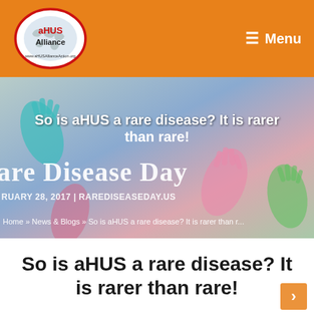[Figure (logo): aHUS Alliance logo — oval with world map, red border, text 'aHUS Alliance' and 'www.aHUSAllianceAction.org']
☰ Menu
[Figure (photo): Rare Disease Day banner background with colorful handprints in teal, pink, green on light background. Text overlay: 'are Disease Day' and 'RUARY 28, 2017 | RAREDISEASEDAY.US']
So is aHUS a rare disease? It is rarer than rare!
Home » News & Blogs » So is aHUS a rare disease? It is rarer than r...
So is aHUS a rare disease? It is rarer than rare!